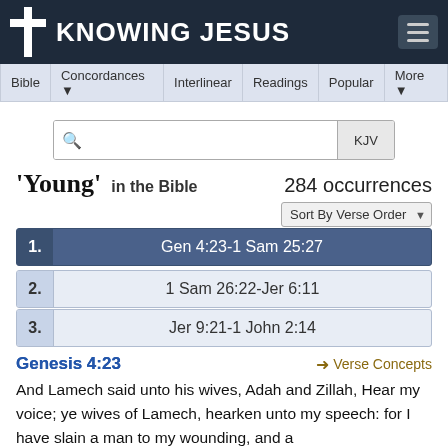KNOWING JESUS
Bible | Concordances | Interlinear | Readings | Popular | More
'Young' in the Bible  284 occurrences
1. Gen 4:23-1 Sam 25:27
2. 1 Sam 26:22-Jer 6:11
3. Jer 9:21-1 John 2:14
Genesis 4:23
And Lamech said unto his wives, Adah and Zillah, Hear my voice; ye wives of Lamech, hearken unto my speech: for I have slain a man to my wounding, and a